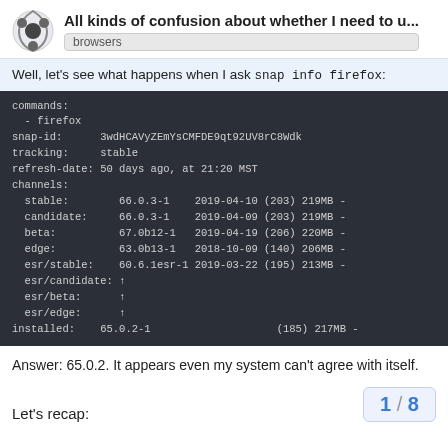All kinds of confusion about whether I need to u... browsers
Well, let's see what happens when I ask snap info firefox:
[Figure (screenshot): Terminal output of 'snap info firefox' showing commands, snap-id, tracking, refresh-date, channels (stable, candidate, beta, edge, esr/stable, esr/candidate, esr/beta, esr/edge) and installed version 65.0.2-1]
Answer: 65.0.2. It appears even my system can't agree with itself.
Let's recap:
1 / 8